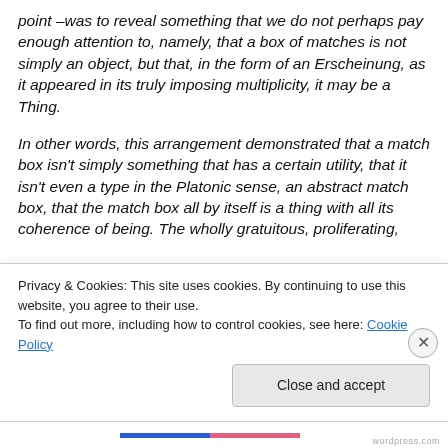point –was to reveal something that we do not perhaps pay enough attention to, namely, that a box of matches is not simply an object, but that, in the form of an Erscheinung, as it appeared in its truly imposing multiplicity, it may be a Thing.

In other words, this arrangement demonstrated that a match box isn't simply something that has a certain utility, that it isn't even a type in the Platonic sense, an abstract match box, that the match box all by itself is a thing with all its coherence of being. The wholly gratuitous, proliferating,
Privacy & Cookies: This site uses cookies. By continuing to use this website, you agree to their use.
To find out more, including how to control cookies, see here: Cookie Policy
Close and accept
wordpress.com